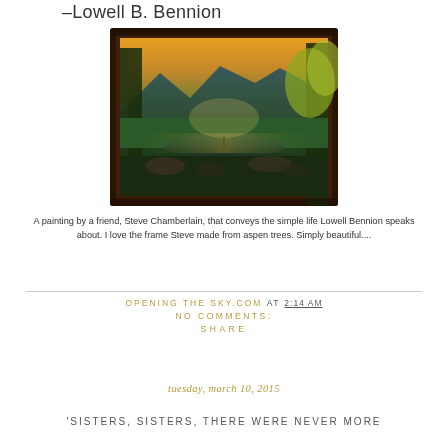–Lowell B. Bennion
[Figure (photo): A framed oil painting of a serene forest landscape with mountains, lake, and trees, in a dark wooden frame made from aspen trees.]
A painting by a friend, Steve Chamberlain, that conveys the simple life Lowell Bennion speaks about. I love the frame Steve made from aspen trees. Simply beautiful....
OPENING THE SKY.COM AT 2:14 AM
NO COMMENTS:
SHARE
tuesday, march 10, 2015
'SISTERS, SISTERS, THERE WERE NEVER MORE